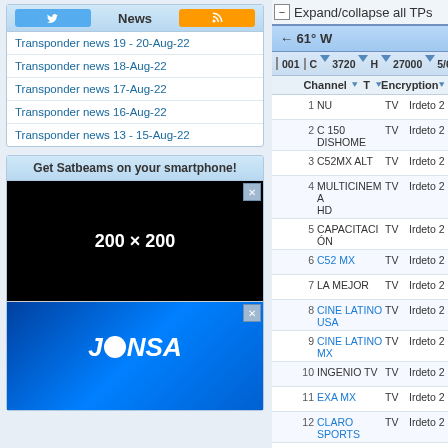News
Transponder news 19 - 20-Aug-22
Transponder news 18-Aug-22
Transponder news 17-Aug-22
Transponder news 16-Aug-22
Transponder news 13 - 15-Aug-22
Get Satbeams on your smartphone!
[Figure (photo): Advertisement banner 200x200 dark space background]
[Figure (photo): JONSA advertisement banner with blue background]
Expand/collapse all TPs
← 61° W
|  | 001 | C | 3720 | H | 27000 | 5/6 |
| --- | --- | --- | --- | --- | --- | --- |
|  | Channel | T | Encryption |  |
| 1 | NU | TV | Irdeto 2 |  |
| 2 | C 150 DISHOME | TV | Irdeto 2 |  |
| 3 | C52MX ALT | TV | Irdeto 2 |  |
| 4 | MULTICINEMA HD | TV | Irdeto 2 |  |
| 5 | CAPACITACIÓN | TV | Irdeto 2 |  |
| 6 | C52 MX | TV | Irdeto 2 |  |
| 7 | LA MEJOR | TV | Irdeto 2 |  |
| 8 | CINE LATINO USA | TV | Irdeto 2 |  |
| 9 | CINE LATINO MX | TV | Irdeto 2 |  |
| 10 | INGENIO TV | TV | Irdeto 2 |  |
| 11 | EXA MX | TV | Irdeto 2 |  |
| 12 | CLARO SPORTS | TV | Irdeto 2 |  |
| 13 | MULTICINEMA | TV | Irdeto 2 |  |
| 14 | MULTIPREMIER | TV | Irdeto 2 |  |